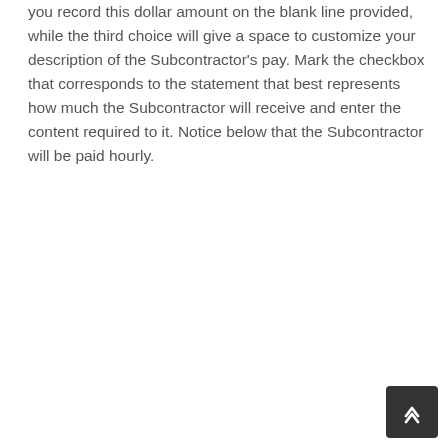you record this dollar amount on the blank line provided, while the third choice will give a space to customize your description of the Subcontractor's pay. Mark the checkbox that corresponds to the statement that best represents how much the Subcontractor will receive and enter the content required to it. Notice below that the Subcontractor will be paid hourly.